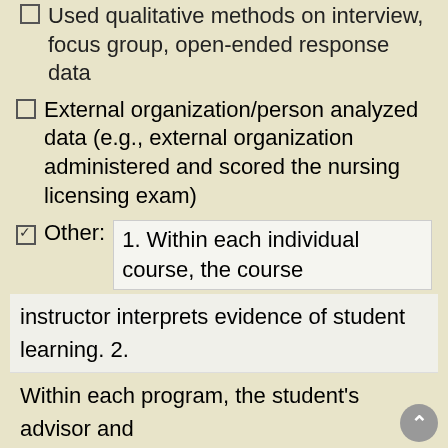Used qualitative methods on interview, focus group, open-ended response data
External organization/person analyzed data (e.g., external organization administered and scored the nursing licensing exam)
Other: 1. Within each individual course, the course instructor interprets evidence of student learning. 2. Within each program, the student's advisor and committee monitor student progress through the program and achievement of its objectives. 3. The graduate faculty in each program rank orders graduate students annually for tuition waiver eligibility based on their overall level of academic achievement. Applications for graduate assistantships are evalu in a similar way. 4. The Literature faculty experimented
in a similar way. 4. The Literature faculty experimented